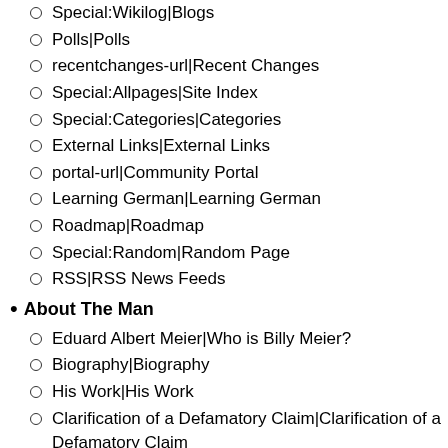Special:Wikilog|Blogs
Polls|Polls
recentchanges-url|Recent Changes
Special:Allpages|Site Index
Special:Categories|Categories
External Links|External Links
portal-url|Community Portal
Learning German|Learning German
Roadmap|Roadmap
Special:Random|Random Page
RSS|RSS News Feeds
About The Man
Eduard Albert Meier|Who is Billy Meier?
Biography|Biography
His Work|His Work
Clarification of a Defamatory Claim|Clarification of a Defamatory Claim
Asket and Nera Photos|Asket & Nera Photos
Why Billy Meier?|Why Billy Meier?